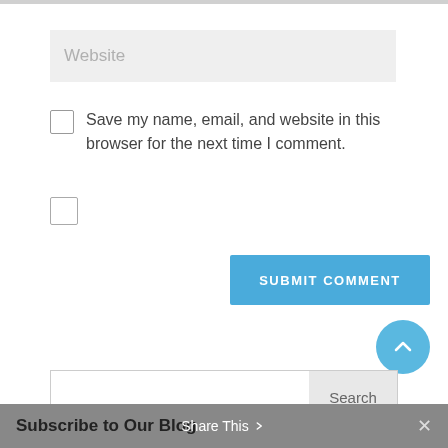[Figure (screenshot): Website input field with placeholder text 'Website' on a light grey background]
Save my name, email, and website in this browser for the next time I comment.
[Figure (screenshot): Empty checkbox (unchecked)]
[Figure (screenshot): Blue 'SUBMIT COMMENT' button]
[Figure (screenshot): Blue circular scroll-to-top button with upward chevron arrow]
[Figure (screenshot): Search bar with text input and 'Search' button]
Subscribe to Our Blog
Share This